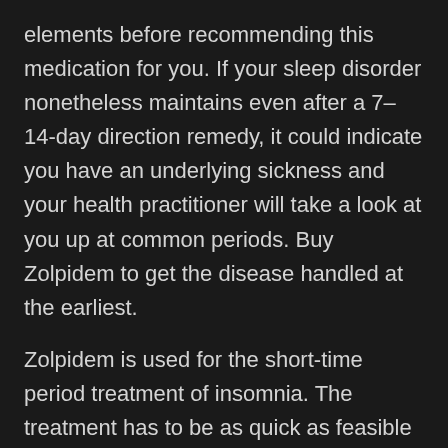elements before recommending this medication for you. If your sleep disorder nonetheless maintains even after a 7–14-day direction remedy, it could indicate you have an underlying sickness and your health practitioner will take a look at you up at common periods. Buy Zolpidem to get the disease handled at the earliest.
Zolpidem is used for the short-time period treatment of insomnia. The treatment has to be as quick as feasible due to the fact the dangers of dependency increase with the length of treatment. Ask your health practitioner for advice when you have any queries.
What Is Codeine Phosphate Used